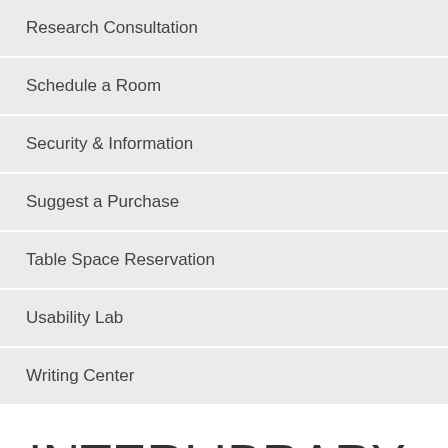Research Consultation
Schedule a Room
Security & Information
Suggest a Purchase
Table Space Reservation
Usability Lab
Writing Center
INTERLIBRARY LOAN POLICIES AND